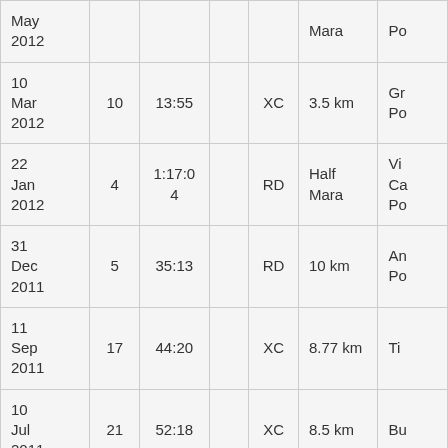| Date | Pos | Time |  | Type | Distance | Race |
| --- | --- | --- | --- | --- | --- | --- |
| May 2012 |  |  |  | Mara |  | Po |
| 10 Mar 2012 | 10 | 13:55 |  | XC | 3.5 km | Gr Po |
| 22 Jan 2012 | 4 | 1:17:04 |  | RD | Half Mara | Vi Ca Po |
| 31 Dec 2011 | 5 | 35:13 |  | RD | 10 km | An Po |
| 11 Sep 2011 | 17 | 44:20 |  | XC | 8.77 km | Ti |
| 10 Jul 2011 | 21 | 52:18 |  | XC | 8.5 km | Bu |